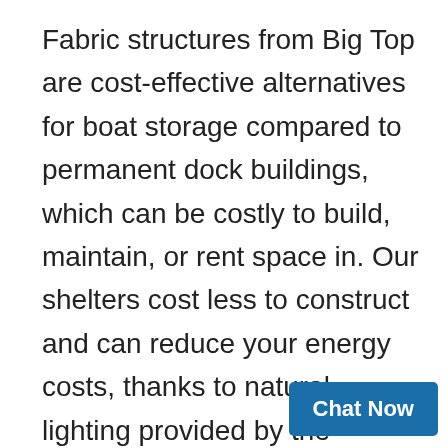Fabric structures from Big Top are cost-effective alternatives for boat storage compared to permanent dock buildings, which can be costly to build, maintain, or rent space in. Our shelters cost less to construct and can reduce your energy costs, thanks to natural lighting provided by the translucent fabric that eliminates the need for artificial light.
Whether you own a private boat or a commercial fleet, your vessels will be well-protected from the elements in one of our fabric structures. The fabric is rip-resistant and NFPA-701 fire retardant and is supported by a galvanized steel frame that is stro...
Chat Now